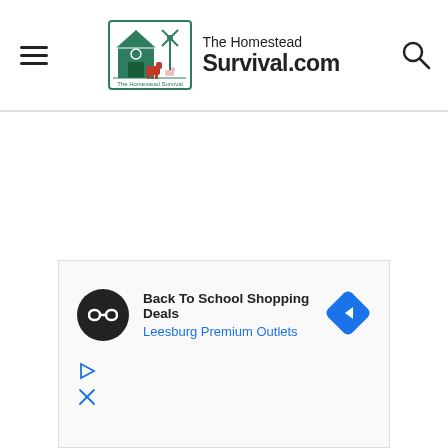The Homestead Survival.com
[Figure (screenshot): Website header for TheHomesteadSurvival.com with hamburger menu icon on left, logo and site name in center, and search icon on right]
[Figure (infographic): Advertisement banner: Back To School Shopping Deals - Leesburg Premium Outlets with play and close controls]